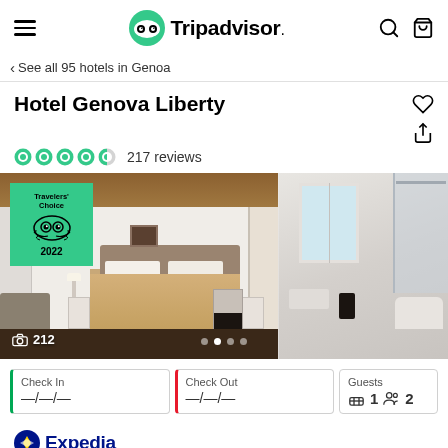Tripadvisor (navigation bar)
< See all 95 hotels in Genoa
Hotel Genova Liberty
217 reviews
[Figure (photo): Hotel room photo showing a bedroom with beige bedding, white furniture, wooden ceiling, and a partial bathroom view. A Travelers' Choice 2022 badge overlays the top-left corner. Photo count shows 212.]
| Check In | Check Out | Guests |
| --- | --- | --- |
| —/—/— | —/—/— | 1 bed, 2 guests |
Expedia